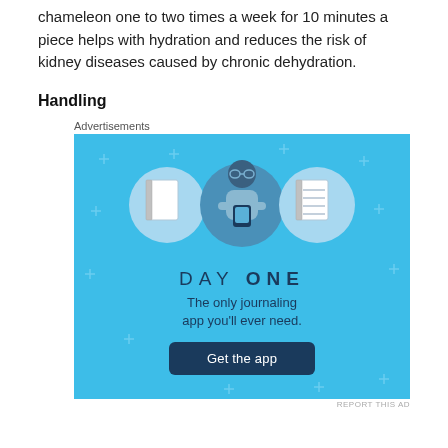chameleon one to two times a week for 10 minutes a piece helps with hydration and reduces the risk of kidney diseases caused by chronic dehydration.
Handling
Advertisements
[Figure (illustration): Day One journaling app advertisement. Blue background with plus/cross decorations. Three circular icons showing notebooks and a central figure of a person holding a phone. Text: 'DAY ONE - The only journaling app you'll ever need.' with a 'Get the app' button.]
REPORT THIS AD